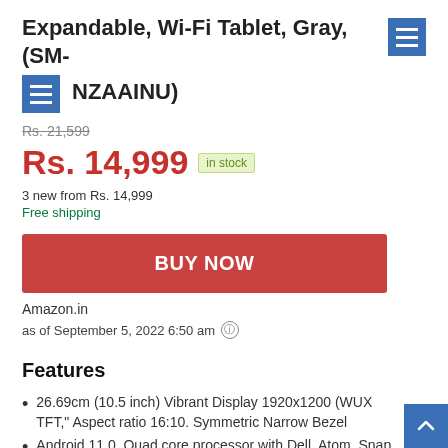Expandable, Wi-Fi Tablet, Gray, (SM-X…NZAAINU)
Rs. 21,599
Rs. 14,999 in stock
3 new from Rs. 14,999
Free shipping
BUY NOW
Amazon.in
as of September 5, 2022 6:50 am
Features
26.69cm (10.5 inch) Vibrant Display 1920x1200 (WUXGA TFT," Aspect ratio 16:10. Symmetric Narrow Bezel
Android 11.0. Quad core processor with Dell, Atom, Snap…